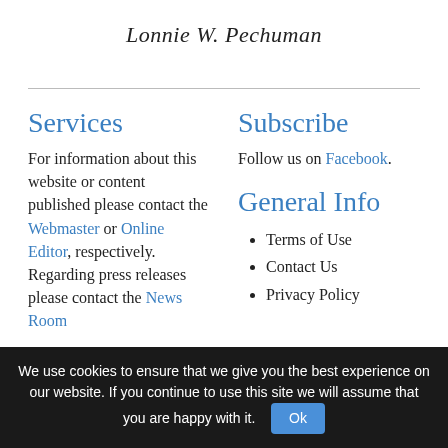Lonnie W. Pechuman
Services
For information about this website or content published please contact the Webmaster or Online Editor, respectively. Regarding press releases please contact the News Room
Subscribe
Follow us on Facebook.
General Info
Terms of Use
Contact Us
Privacy Policy
We use cookies to ensure that we give you the best experience on our website. If you continue to use this site we will assume that you are happy with it. Ok